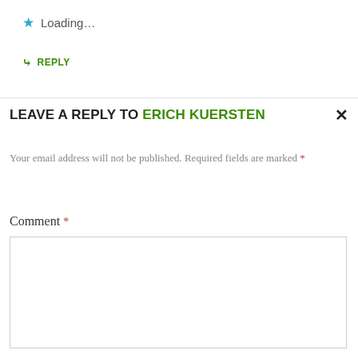★ Loading...
↳ REPLY
LEAVE A REPLY TO ERICH KUERSTEN ×
Your email address will not be published. Required fields are marked *
Comment *
[Figure (other): Empty comment textarea input box]